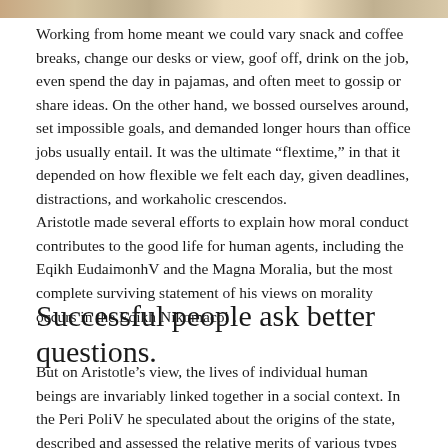[Figure (photo): Partial image visible at top of page, appears to show a nature or textured background]
Working from home meant we could vary snack and coffee breaks, change our desks or view, goof off, drink on the job, even spend the day in pajamas, and often meet to gossip or share ideas. On the other hand, we bossed ourselves around, set impossible goals, and demanded longer hours than office jobs usually entail. It was the ultimate “flextime,” in that it depended on how flexible we felt each day, given deadlines, distractions, and workaholic crescendos.
Aristotle made several efforts to explain how moral conduct contributes to the good life for human agents, including the Eqikh EudaimonhV and the Magna Moralia, but the most complete surviving statement of his views on morality occurs in the Eqikh Nikomacoi .
Successful people ask better questions.
But on Aristotle’s view, the lives of individual human beings are invariably linked together in a social context. In the Peri PoliV he speculated about the origins of the state, described and assessed the relative merits of various types of